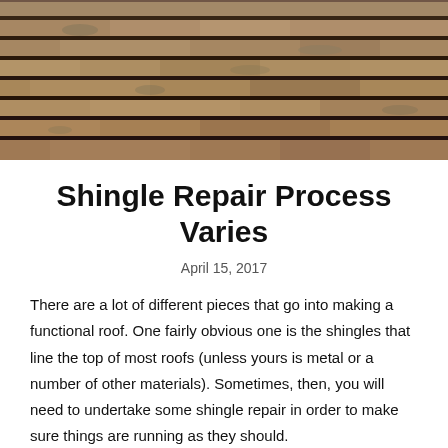[Figure (photo): Close-up photograph of overlapping weathered roof shingles with horizontal rows visible, brownish-gray tone with some moss or weathering marks.]
Shingle Repair Process Varies
April 15, 2017
There are a lot of different pieces that go into making a functional roof. One fairly obvious one is the shingles that line the top of most roofs (unless yours is metal or a number of other materials). Sometimes, then, you will need to undertake some shingle repair in order to make sure things are running as they should.